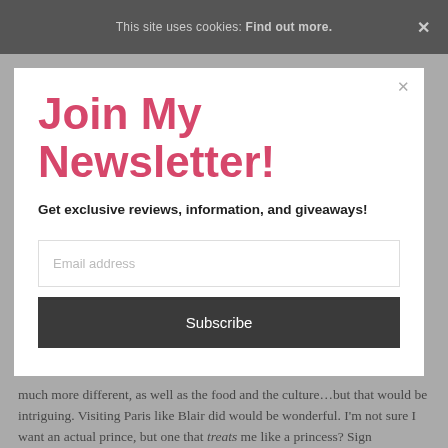This site uses cookies: Find out more.
Join My Newsletter!
Get exclusive reviews, information, and giveaways!
Email address
Subscribe
much more different, as well as the food and the culture…but that would be intriguing. Visiting Paris like Blair did would be wonderful. I'm not sure I want an actual prince, but one that treats me like a princess? Sign